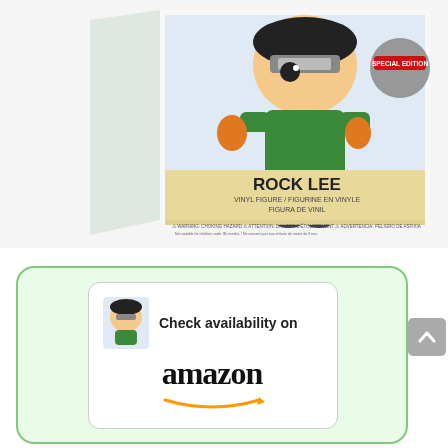[Figure (photo): Funko Pop Rock Lee vinyl figure box. The box shows a cartoon-style figure of Rock Lee from Naruto in a green jumpsuit with taped hands, in a running/kicking pose. The box label reads 'ROCK LEE VINYL FIGURE / FIGURINE EN VINYLE FIGURA DE VINIL' with a Special Edition badge in the top-right corner. Warning text in multiple languages appears at the bottom.]
TheFu
[Figure (other): Amazon availability widget. Contains a small Funko Pop Rock Lee thumbnail image, text 'Check availability on', and the Amazon logo with the signature orange arrow smile beneath it. The widget has a white background with rounded corners, inside a light green rounded rectangle container.]